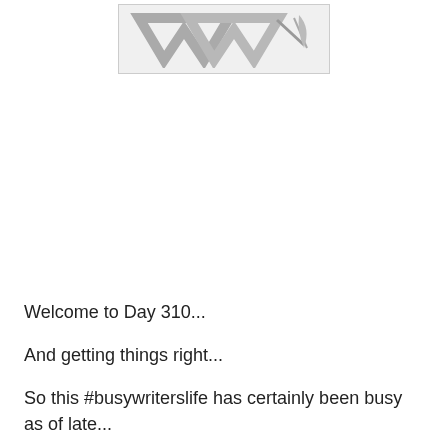[Figure (logo): Partial logo image showing stylized W letters and a pen/quill element in gray tones, cropped at top]
Welcome to Day 310...
And getting things right...
So this #busywriterslife has certainly been busy as of late...
We're pickdoing final